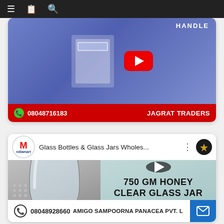Navigation bar with menu, bookmark, and search icons
[Figure (screenshot): YouTube video thumbnail for Jagrat Traders showing glass container with handle text, purple/blue background, red YouTube play button overlay]
HANDLE
08048716183
JAGRAT TRADERS
[Figure (screenshot): YouTube video thumbnail for Glass Bottles & Glass Jars Wholesale by Indiamart showing 750 GM HONEY CLEAR GLASS JAR with glass jar image and dark play button]
Glass Bottles & Glass Jars Wholes...
750 GM HONEY CLEAR GLASS JAR
08048928660
AMIGO SAMPOORNA PANACEA PVT. L...